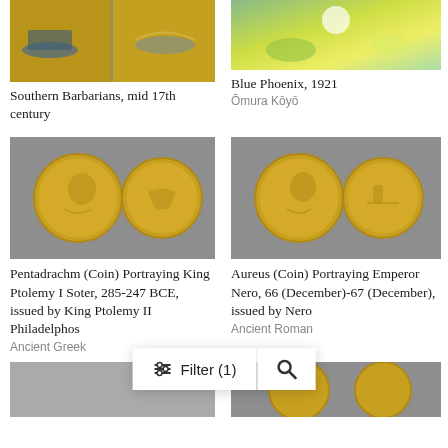[Figure (photo): Japanese decorative painting showing boats and coastal scene with gold background, mid 17th century]
[Figure (photo): Colorful painting Blue Phoenix, 1921 by Omura Koyo, partial view at top]
Southern Barbarians, mid 17th century
Blue Phoenix, 1921
Ōmura Kōyō
[Figure (photo): Two gold coins showing Pentadrachm portraying King Ptolemy I Soter on gray background]
[Figure (photo): Two gold coins showing Aureus portraying Emperor Nero on gray background]
Pentadrachm (Coin) Portraying King Ptolemy I Soter, 285-247 BCE, issued by King Ptolemy II Philadelphos
Ancient Greek
Aureus (Coin) Portraying Emperor Nero, 66 (December)-67 (December), issued by Nero
Ancient Roman
[Figure (photo): Partial view of coins at bottom left]
[Figure (photo): Partial view of gold coins at bottom right on gray background]